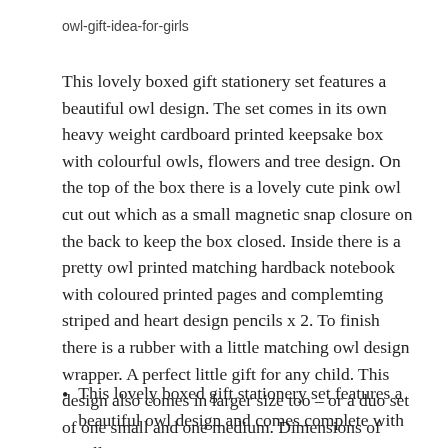owl-gift-idea-for-girls
This lovely boxed gift stationery set features a beautiful owl design. The set comes in its own heavy weight cardboard printed keepsake box with colourful owls, flowers and tree design. On the top of the box there is a lovely cute pink owl cut out which as a small magnetic snap closure on the back to keep the box closed. Inside there is a pretty owl printed matching hardback notebook with coloured printed pages and complemting striped and heart design pencils x 2. To finish there is a rubber with a little matching owl design wrapper. A perfect little gift for any child. This design also comes in larger size too – or a duo set of one small and one medium. Dimensions of Small: L170 x W:125 x D:30mm
This lovely boxed gift stationery set features a beautiful owl design and comes complete with